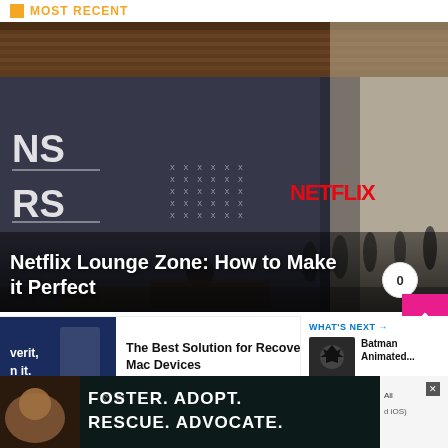MOST RECENT
[Figure (photo): Interior of Netflix office lounge with dark walls showing Netflix logo in red, wooden ceiling, people sitting and standing around furniture]
Netflix Lounge Zone: How to Make it Perfect
[Figure (photo): Dark blue advertisement thumbnail with text 'verit, n it.']
The Best Solution for Recovering Deleted Photos on Mac Devices
WHAT'S NEXT → Batman Animated...
[Figure (photo): Batman animated image thumbnail]
[Figure (photo): Advertisement banner: Foster. Adopt. Rescue. Advocate. with dog image on black/teal background]